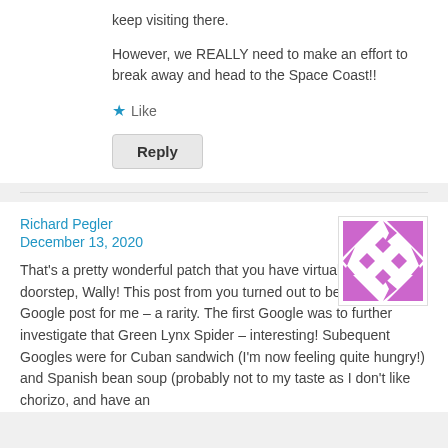keep visiting there.
However, we REALLY need to make an effort to break away and head to the Space Coast!!
★ Like
Reply
Richard Pegler
December 13, 2020
[Figure (illustration): Avatar/profile image with purple geometric pattern on white background]
That's a pretty wonderful patch that you have virtually on your doorstep, Wally! This post from you turned out to be a three-Google post for me – a rarity. The first Google was to further investigate that Green Lynx Spider – interesting! Subequent Googles were for Cuban sandwich (I'm now feeling quite hungry!) and Spanish bean soup (probably not to my taste as I don't like chorizo, and have an